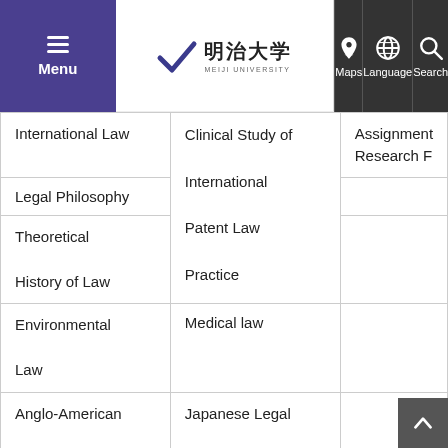[Figure (screenshot): University website navigation bar with menu, Meiji University logo, Maps, Language, and Search icons]
|  |  |  |
| --- | --- | --- |
| International Law | Clinical Study of International Patent Law Practice | Assignment Research F |
| Legal Philosophy |  |  |
| Theoretical History of Law |  |  |
| Environmental Law | Medical law |  |
| Anglo-American Law | Japanese Legal History |  |
| German Law | Asian Legal History |  |